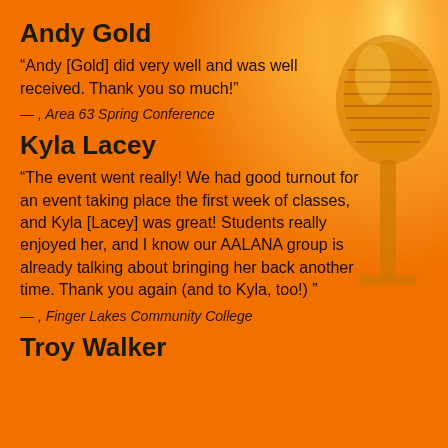Andy Gold
“Andy [Gold] did very well and was well received. Thank you so much!”
— , Area 63 Spring Conference
Kyla Lacey
“The event went really! We had good turnout for an event taking place the first week of classes, and Kyla [Lacey] was great! Students really enjoyed her, and I know our AALANA group is already talking about bringing her back another time. Thank you again (and to Kyla, too!) ”
— , Finger Lakes Community College
Troy Walker